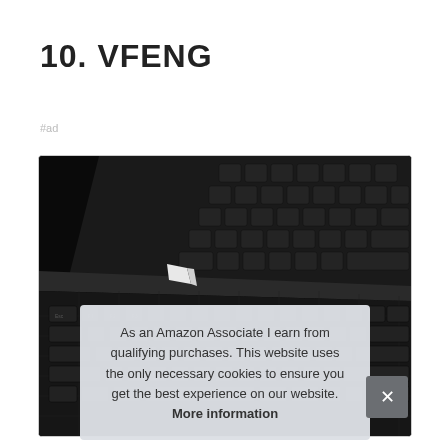10. VFENG
#ad
[Figure (photo): Close-up photo of a laptop keyboard and a separate keyboard/cover, showing dark keys with a carbon fiber texture background. A white stylus or pen is visible between the two keyboards.]
As an Amazon Associate I earn from qualifying purchases. This website uses the only necessary cookies to ensure you get the best experience on our website. More information